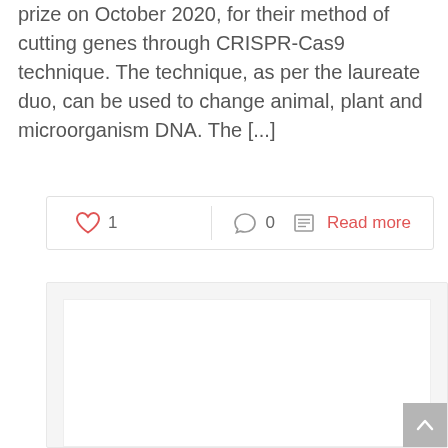prize on October 2020, for their method of cutting genes through CRISPR-Cas9 technique. The technique, as per the laureate duo, can be used to change animal, plant and microorganism DNA. The [...]
[Figure (screenshot): Interaction bar with heart icon (1 like), comment icon (0 comments), and Read more link]
[Figure (photo): White content area placeholder image below the interaction bar]